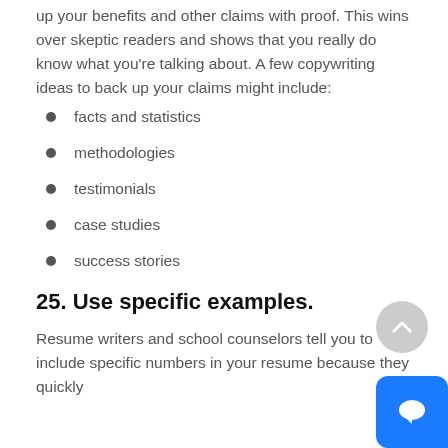up your benefits and other claims with proof. This wins over skeptic readers and shows that you really do know what you're talking about. A few copywriting ideas to back up your claims might include:
facts and statistics
methodologies
testimonials
case studies
success stories
25. Use specific examples.
Resume writers and school counselors tell you to include specific numbers in your resume because they quickly